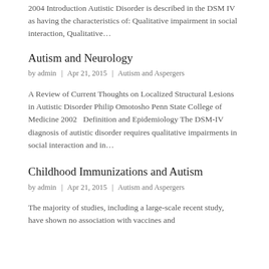2004  Introduction  Autistic Disorder is described in the DSM IV as having the characteristics of: Qualitative impairment in social interaction, Qualitative…
Autism and Neurology
by admin | Apr 21, 2015 | Autism and Aspergers
A Review of Current Thoughts on Localized Structural Lesions in Autistic Disorder Philip Omotosho Penn State College of Medicine 2002   Definition and Epidemiology The DSM-IV diagnosis of autistic disorder requires qualitative impairments in social interaction and in…
Childhood Immunizations and Autism
by admin | Apr 21, 2015 | Autism and Aspergers
The majority of studies, including a large-scale recent study, have shown no association with vaccines and